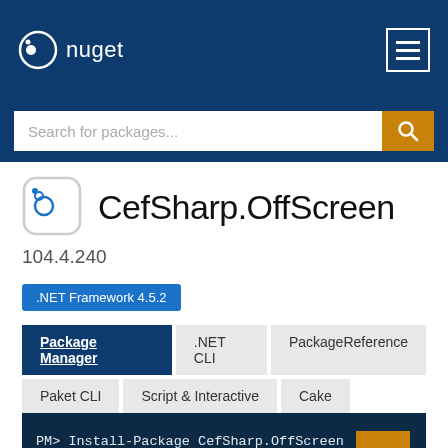nuget
Search for packages...
CefSharp.OffScreen
104.4.240
.NET Framework 4.5.2
Package Manager | .NET CLI | PackageReference | Paket CLI | Script & Interactive | Cake
PM> Install-Package CefSharp.OffScreen -Version 104.4.240